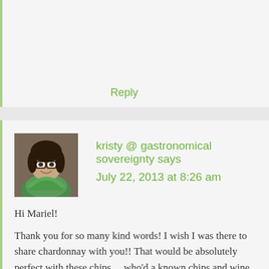Reply
[Figure (photo): Avatar photo of kristy @ gastronomical sovereignty — a woman with dark hair, glasses, and a green scarf, smiling]
kristy @ gastronomical sovereignty says
July 22, 2013 at 8:26 am
Hi Mariel!
Thank you for so many kind words! I wish I was there to share chardonnay with you!! That would be absolutely perfect with these chips… who'd a known chips and wine would work so well together! I totally understand not wanting to cook in the heat – the recipe I made was minimal cooking as well. Too bad we can't just eat bread and tomatoes for dinner every night. Oh